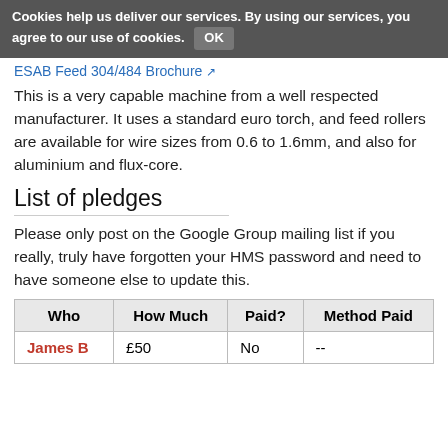Cookies help us deliver our services. By using our services, you agree to our use of cookies. OK
ESAB Feed 304/484 Brochure
This is a very capable machine from a well respected manufacturer. It uses a standard euro torch, and feed rollers are available for wire sizes from 0.6 to 1.6mm, and also for aluminium and flux-core.
List of pledges
Please only post on the Google Group mailing list if you really, truly have forgotten your HMS password and need to have someone else to update this.
| Who | How Much | Paid? | Method Paid |
| --- | --- | --- | --- |
| James B | £50 | No | -- |